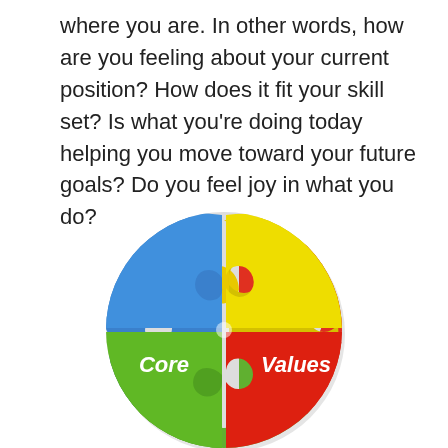where you are. In other words, how are you feeling about your current position? How does it fit your skill set? Is what you're doing today helping you move toward your future goals? Do you feel joy in what you do?
[Figure (illustration): A circular puzzle made of four interlocking puzzle pieces in blue, yellow, red, and green colors. The blue piece on the left is labeled 'Core' and the red piece on the right is labeled 'Values', forming a 'Core Values' concept illustration.]